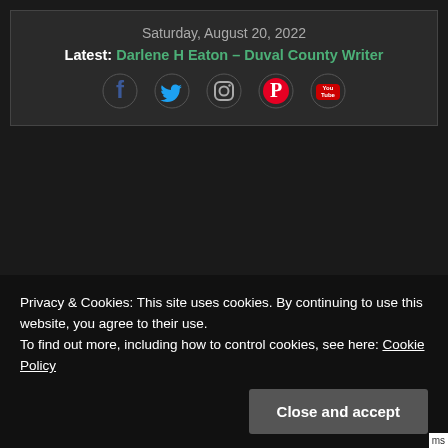Saturday, August 20, 2022
Latest: Darlene H Eaton – Duval County Writer
[Figure (illustration): Social media icons: Facebook (blue), Twitter (blue), Instagram (dark), Pinterest (red), YouTube (red/white)]
Privacy & Cookies: This site uses cookies. By continuing to use this website, you agree to their use.
To find out more, including how to control cookies, see here: Cookie Policy
Close and accept